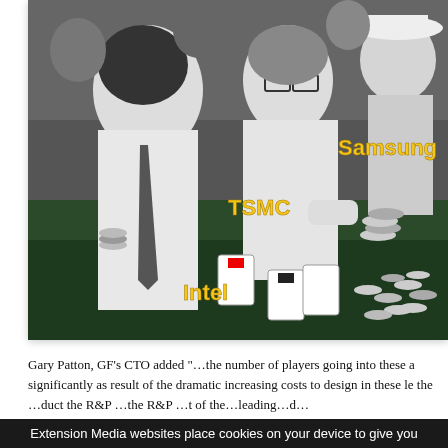[Figure (photo): Black and white photograph of people sitting around a poker/casino table with chips and cards. Three players are labeled with yellow text: 'Intel' (bottom left area), 'TSMC' (center), and 'Samsung' (upper right). The image is annotated to represent semiconductor industry competition as a card game.]
Gary Patton, GF's CTO added "…the number of players going into these a significantly as result of the dramatic increasing costs to design in these le the …duct the R&P …the R&P …t of the…leading…d…"
Extension Media websites place cookies on your device to give you